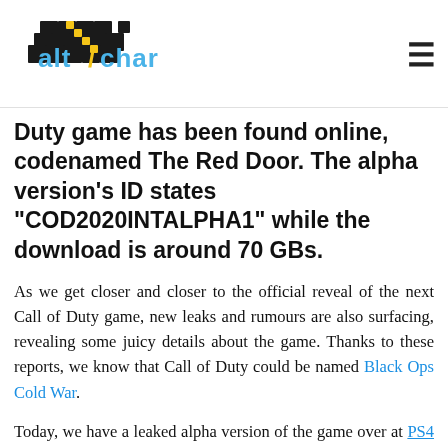AltChar logo and navigation
Duty game has been found online, codenamed The Red Door. The alpha version's ID states "COD2020INTALPHA1" while the download is around 70 GBs.
As we get closer and closer to the official reveal of the next Call of Duty game, new leaks and rumours are also surfacing, revealing some juicy details about the game. Thanks to these reports, we know that Call of Duty could be named Black Ops Cold War.
Today, we have a leaked alpha version of the game over at PS4 Patches website. The listing includes a couple of details about the game including an ID which says "COD2020INTALPHA1". This is, of course, a clear indication